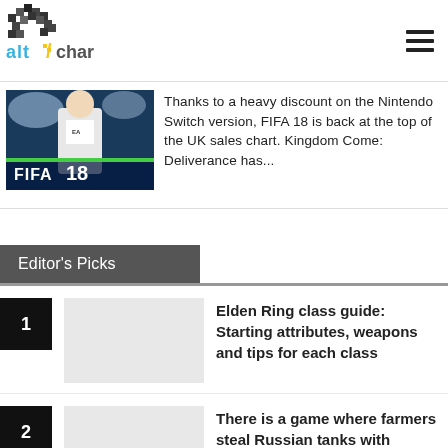[Figure (logo): AltChar logo - pixelated gaming style logo with yellow and blue text]
[Figure (photo): FIFA 18 game cover image showing a football player in white Real Madrid kit]
Thanks to a heavy discount on the Nintendo Switch version, FIFA 18 is back at the top of the UK sales chart. Kingdom Come: Deliverance has...
Editor's Picks
1 Elden Ring class guide: Starting attributes, weapons and tips for each class
2 There is a game where farmers steal Russian tanks with tractors now